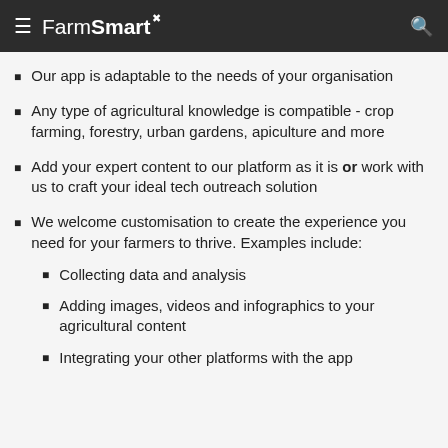FarmSmart
Our app is adaptable to the needs of your organisation
Any type of agricultural knowledge is compatible - crop farming, forestry, urban gardens, apiculture and more
Add your expert content to our platform as it is or work with us to craft your ideal tech outreach solution
We welcome customisation to create the experience you need for your farmers to thrive. Examples include:
Collecting data and analysis
Adding images, videos and infographics to your agricultural content
Integrating your other platforms with the app